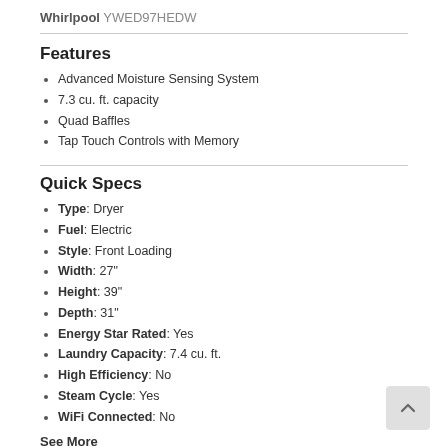Whirlpool YWED97HEDW
Features
Advanced Moisture Sensing System
7.3 cu. ft. capacity
Quad Baffles
Tap Touch Controls with Memory
Quick Specs
Type: Dryer
Fuel: Electric
Style: Front Loading
Width: 27"
Height: 39"
Depth: 31"
Energy Star Rated: Yes
Laundry Capacity: 7.4 cu. ft.
High Efficiency: No
Steam Cycle: Yes
WiFi Connected: No
See More